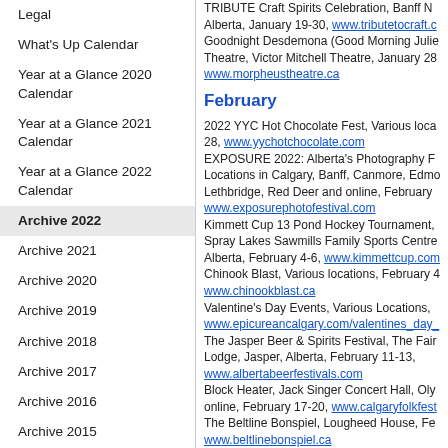Legal
What's Up Calendar
Year at a Glance 2020 Calendar
Year at a Glance 2021 Calendar
Year at a Glance 2022 Calendar
Archive 2022
Archive 2021
Archive 2020
Archive 2019
Archive 2018
Archive 2017
Archive 2016
Archive 2015
TRIBUTE Craft Spirits Celebration, Banff National Park, Alberta, January 19-30, www.tributetocraft.com Goodnight Desdemona (Good Morning Juliet), Morpheus Theatre, Victor Mitchell Theatre, January 28, www.morpheustheatre.ca
February
2022 YYC Hot Chocolate Fest, Various locations, February 1-28, www.yychotchocolate.com EXPOSURE 2022: Alberta's Photography Festival, Various Locations in Calgary, Banff, Canmore, Edmonton, Lethbridge, Red Deer and online, February 1-28, www.exposurephotofestival.com Kimmett Cup 13 Pond Hockey Tournament, Spray Lakes Sawmills Family Sports Centre, Cochrane, Alberta, February 4-6, www.kimmettcup.com Chinook Blast, Various locations, February 4-, www.chinookblast.ca Valentine's Day Events, Various Locations, www.epicureancalgary.com/valentines_day The Jasper Beer & Spirits Festival, The Fairmont Jasper Park Lodge, Jasper, Alberta, February 11-13, www.albertabeerfestivals.com Block Heater, Jack Singer Concert Hall, Oly, online, February 17-20, www.calgaryfolkfest.com The Beltline Bonspiel, Lougheed House, Feb, www.beltlinebonspiel.ca Calgary Home and Garden Show, BMO Centre, Stampede Park, February 24-27, www.calgaryhgs.com Ethnik Festival of Arts and Culture, Live online Facebook and YouTube, February 26, www.ethnikfestival.com Coldest Night of the Year, Virtual, February 2
March
Secret 3K Run/Walk, Virtual, March 2, www.